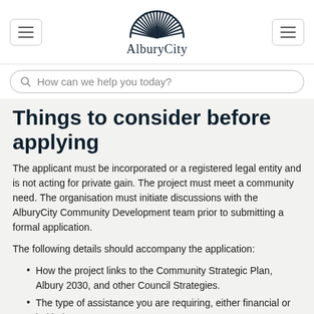AlburyCity
How can we help you today?
Things to consider before applying
The applicant must be incorporated or a registered legal entity and is not acting for private gain. The project must meet a community need. The organisation must initiate discussions with the AlburyCity Community Development team prior to submitting a formal application.
The following details should accompany the application:
How the project links to the Community Strategic Plan, Albury 2030, and other Council Strategies.
The type of assistance you are requiring, either financial or in-kind.